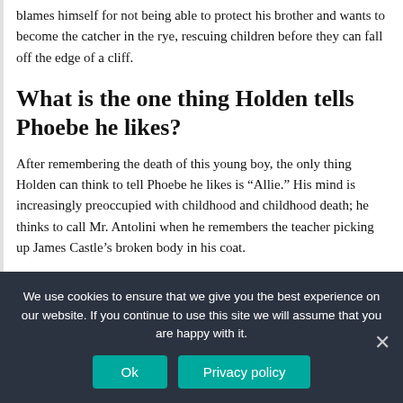blames himself for not being able to protect his brother and wants to become the catcher in the rye, rescuing children before they can fall off the edge of a cliff.
What is the one thing Holden tells Phoebe he likes?
After remembering the death of this young boy, the only thing Holden can think to tell Phoebe he likes is “Allie.” His mind is increasingly preoccupied with childhood and childhood death; he thinks to call Mr. Antolini when he remembers the teacher picking up James Castle’s broken body in his coat.
What does Carl think Holden needs do you
We use cookies to ensure that we give you the best experience on our website. If you continue to use this site we will assume that you are happy with it.